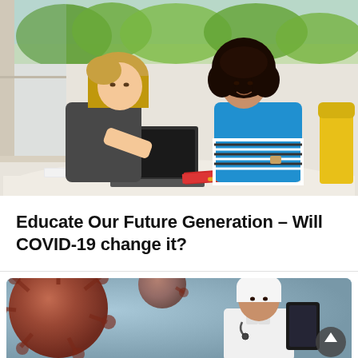[Figure (photo): Two female students studying together at a table, one with blonde hair looking at a laptop, the other with dark curly hair wearing a blue top with stripes, smiling. Indoor setting with window showing greenery outside.]
Educate Our Future Generation – Will COVID-19 change it?
[Figure (photo): A healthcare professional wearing a white coat and head covering, looking at a tablet device. Background shows large reddish-brown coronavirus particles against a blue-tinted backdrop.]